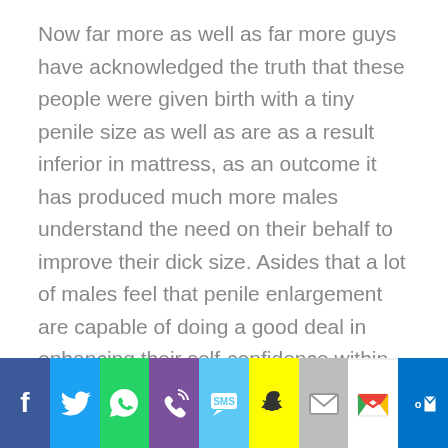Now far more as well as far more guys have acknowledged the truth that these people were given birth with a tiny penile size as well as are as a result inferior in mattress, as an outcome it has produced much more males understand the need on their behalf to improve their dick size. Asides that a lot of males feel that penile enlargement are capable of doing a good deal in enhancing their self-confidence within the master bedroom and also inside their each and every day life.
Stretching Workout Routines
[Figure (other): Social sharing bar with icons for Facebook, Twitter, WhatsApp, Phone, SMS, Snapchat, Email, Gmail, and Outlook]